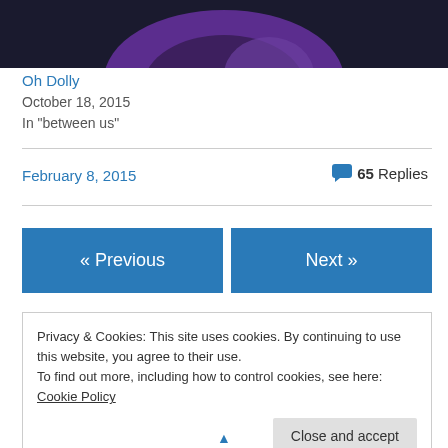[Figure (illustration): Dark background with purple/violet abstract shape at bottom, partial view of a character or illustration]
Oh Dolly
October 18, 2015
In "between us"
February 8, 2015
💬 65 Replies
« Previous
Next »
Privacy & Cookies: This site uses cookies. By continuing to use this website, you agree to their use.
To find out more, including how to control cookies, see here: Cookie Policy
Close and accept